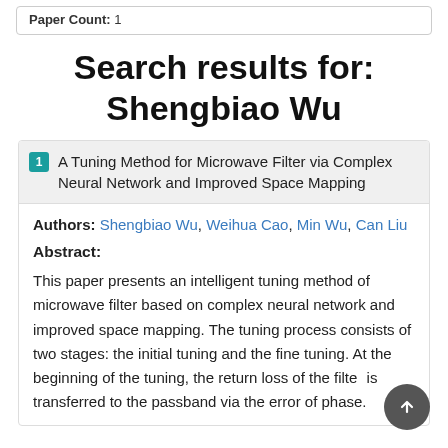Paper Count: 1
Search results for: Shengbiao Wu
1  A Tuning Method for Microwave Filter via Complex Neural Network and Improved Space Mapping
Authors: Shengbiao Wu, Weihua Cao, Min Wu, Can Liu
Abstract:
This paper presents an intelligent tuning method of microwave filter based on complex neural network and improved space mapping. The tuning process consists of two stages: the initial tuning and the fine tuning. At the beginning of the tuning, the return loss of the filter is transferred to the passband via the error of phase.